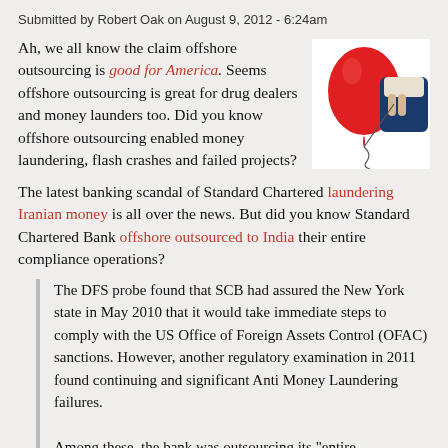Submitted by Robert Oak on August 9, 2012 - 6:24am
Ah, we all know the claim offshore outsourcing is good for America. Seems offshore outsourcing is great for drug dealers and money launders too. Did you know offshore outsourcing enabled money laundering, flash crashes and failed projects?
[Figure (photo): Hand holding a red balloon string, balloon floating upward against white background]
The latest banking scandal of Standard Chartered laundering Iranian money is all over the news. But did you know Standard Chartered Bank offshore outsourced to India their entire compliance operations?
The DFS probe found that SCB had assured the New York state in May 2010 that it would take immediate steps to comply with the US Office of Foreign Assets Control (OFAC) sanctions. However, another regulatory examination in 2011 found continuing and significant Anti Money Laundering failures.
Among these, the bank was outsourcing its "entire